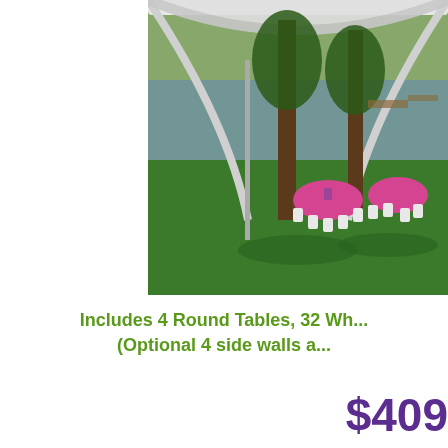[Figure (photo): Outdoor event tent setup with white canopy frame, round tables covered in pink/fuchsia tablecloths, white folding chairs on green grass, trees visible in background along with a pond or lake]
Includes 4 Round Tables, 32 Wh... (Optional 4 side walls a...
$409